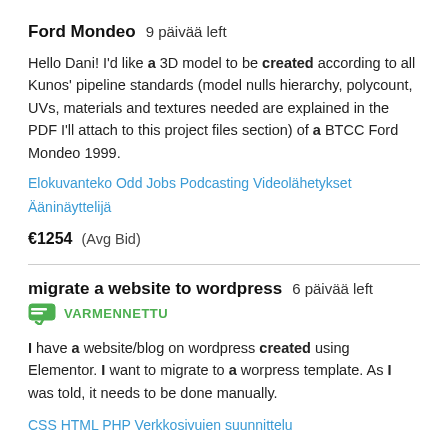Ford Mondeo  9 päivää left
Hello Dani! I'd like a 3D model to be created according to all Kunos' pipeline standards (model nulls hierarchy, polycount, UVs, materials and textures needed are explained in the PDF I'll attach to this project files section) of a BTCC Ford Mondeo 1999.
Elokuvanteko  Odd Jobs  Podcasting  Videolähetykset  Ääninäyttelijä
€1254  (Avg Bid)
migrate a website to wordpress  6 päivää left
VARMENNETTU
I have a website/blog on wordpress created using Elementor. I want to migrate to a worpress template. As I was told, it needs to be done manually.
CSS  HTML  PHP  Verkkosivuien suunnittelu